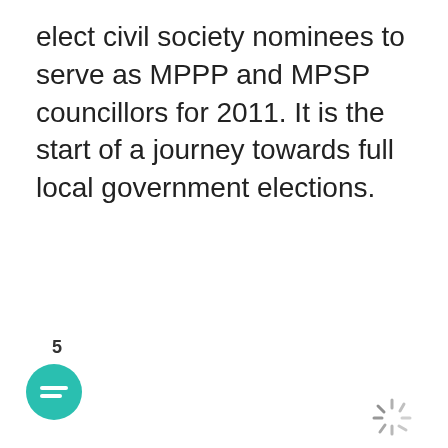elect civil society nominees to serve as MPPP and MPSP councillors for 2011. It is the start of a journey towards full local government elections.
5